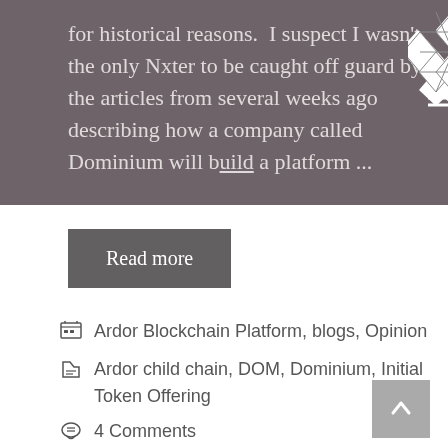for historical reasons.  I suspect I wasn't the only Nxter to be caught off guard by the articles from several weeks ago describing how a company called Dominium will build a platform ...
[Figure (logo): Decorative geometric diamond/cross pattern logo overlaid on text]
Read more
Ardor Blockchain Platform, blogs, Opinion
Ardor child chain, DOM, Dominium, Initial Token Offering
4 Comments